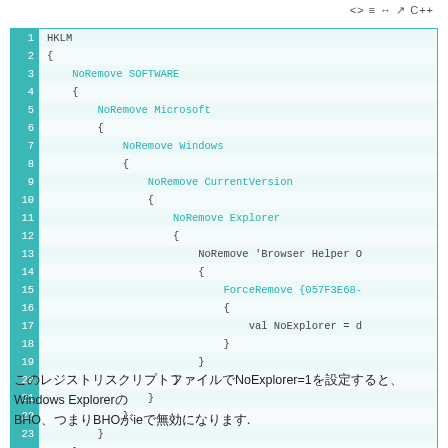[Figure (screenshot): Code editor screenshot showing registry script (RGS file) with lines 1-25. The code defines nested registry keys: HKLM > SOFTWARE > Microsoft > Windows > CurrentVersion > Explorer > 'Browser Helper Objects' > {057F3E68-...} with val NoExplorer = d. Line numbers shown in teal background on left. Toolbar icons visible at top right including C++.]
このレジストリスクリプトファイルでNoExplorer=1を設定すると、Windows ExplorerのBHO、つまりBHOがieで無効になります.